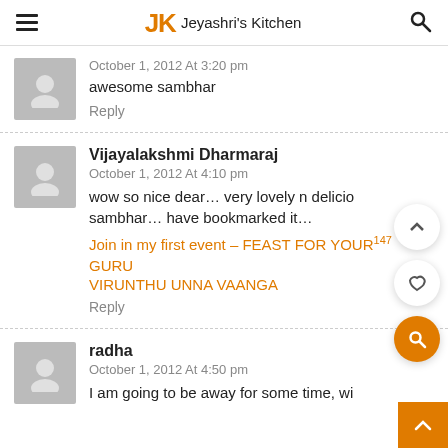JK Jeyashri's Kitchen
October 1, 2012 At 3:20 pm
awesome sambhar
Reply
Vijayalakshmi Dharmaraj
October 1, 2012 At 4:10 pm
wow so nice dear… very lovely n delicious sambhar… have bookmarked it…
Join in my first event – FEAST FOR YOUR GURU
VIRUNTHU UNNA VAANGA
Reply
radha
October 1, 2012 At 4:50 pm
I am going to be away for some time, wi